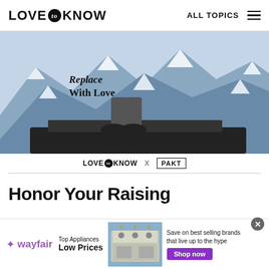LOVE to KNOW  ALL TOPICS
[Figure (photo): Advertisement photo showing snowy mountain peaks with a person sitting on top of a car sunroof, text overlaid reads 'Replace With Love']
LOVE to KNOW X PAKT
Honor Your Raising
[Figure (photo): Partial image of food item (fried chicken or similar golden-brown food)]
[Figure (photo): Wayfair advertisement banner: Top Appliances Low Prices, showing a stove/range appliance, Save on best selling brands that live up to the hype, Shop now button]